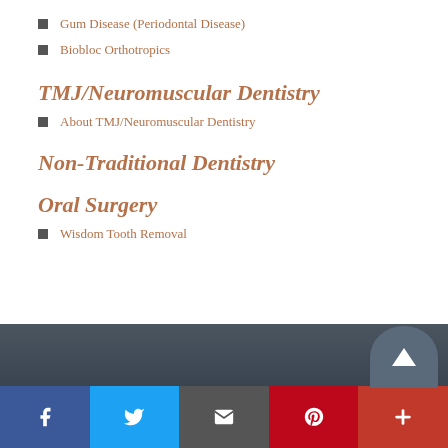Gum Disease (Periodontal Disease)
Biobloc Orthotropics
TMJ/Neuromuscular Dentistry
About TMJ/Neuromuscular Dentistry
Non-Traditional Dentistry
Oral Surgery
Wisdom Tooth Removal